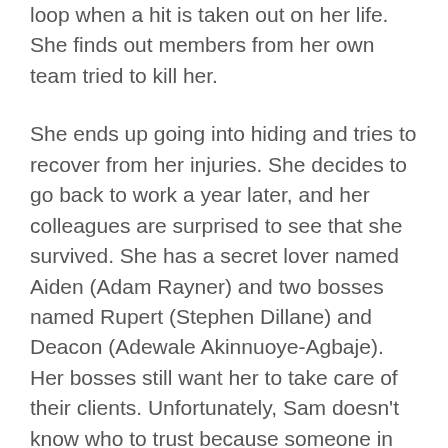loop when a hit is taken out on her life. She finds out members from her own team tried to kill her.
She ends up going into hiding and tries to recover from her injuries. She decides to go back to work a year later, and her colleagues are surprised to see that she survived. She has a secret lover named Aiden (Adam Rayner) and two bosses named Rupert (Stephen Dillane) and Deacon (Adewale Akinnuoye-Agbaje). Her bosses still want her to take care of their clients. Unfortunately, Sam doesn't know who to trust because someone in her inner circle wants her dead.
This British series is a mystery and drama. Sam/Alex doesn't know who is trying to kill her. It could be anyone. It can even be her lover. The show has the makings of a nighttime soap opera. It has mystery and intrigue. If espionage and spy stories aren't your cup of tea, you can